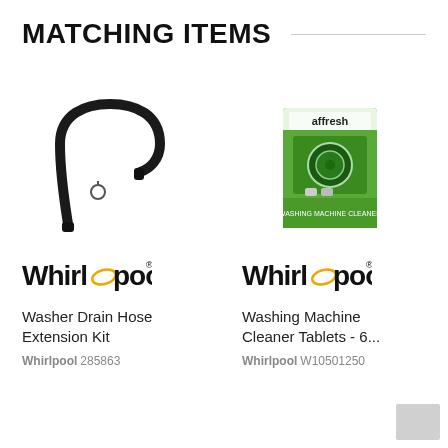MATCHING ITEMS
[Figure (photo): Whirlpool Washer Drain Hose Extension Kit product photo showing black flexible drain hose and small clamp]
[Figure (photo): Affresh Washing Machine Cleaner Tablets product in green packaging]
[Figure (logo): Whirlpool logo with gold swirl]
Washer Drain Hose Extension Kit
Whirlpool 285863
[Figure (logo): Whirlpool logo with gold swirl]
Washing Machine Cleaner Tablets - 6...
Whirlpool W10501250